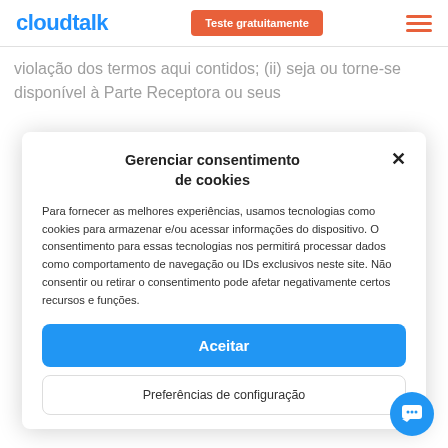cloudtalk | Teste gratuitamente
violação dos termos aqui contidos; (ii) seja ou torne-se disponível à Parte Receptora ou seus
Gerenciar consentimento de cookies
Para fornecer as melhores experiências, usamos tecnologias como cookies para armazenar e/ou acessar informações do dispositivo. O consentimento para essas tecnologias nos permitirá processar dados como comportamento de navegação ou IDs exclusivos neste site. Não consentir ou retirar o consentimento pode afetar negativamente certos recursos e funções.
Aceitar
Preferências de configuração